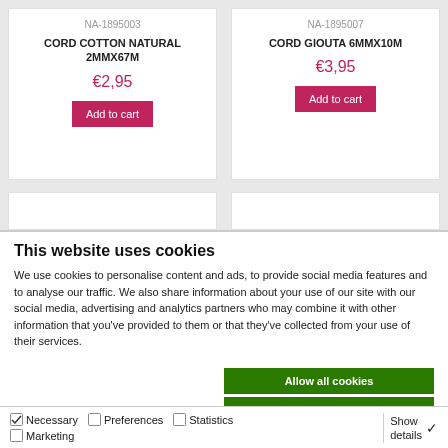NA-1895003
CORD COTTON NATURAL 2MMX67M
€2,95
Add to cart
NA-1895007
CORD GIOUTA 6MMX10M
€3,95
Add to cart
This website uses cookies
We use cookies to personalise content and ads, to provide social media features and to analyse our traffic. We also share information about your use of our site with our social media, advertising and analytics partners who may combine it with other information that you've provided to them or that they've collected from your use of their services.
Allow all cookies
Allow selection
Use necessary cookies only
Necessary  Preferences  Statistics  Marketing  Show details